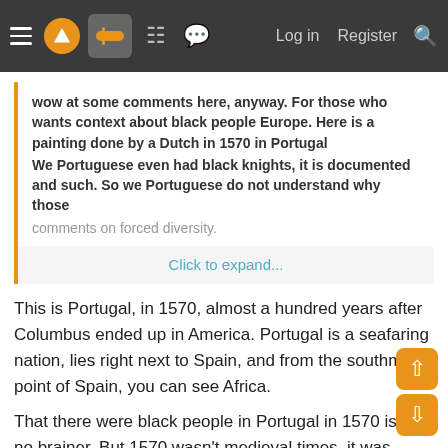≡ [logo] [gamepad] [grid] [chat]   Log in   Register  🔍
wow at some comments here, anyway. For those who wants context about black people Europe. Here is a painting done by a Dutch in 1570 in Portugal
We Portuguese even had black knights, it is documented and such. So we Portuguese do not understand why those comments on forced diversity.
[Click to expand...]
This is Portugal, in 1570, almost a hundred years after Columbus ended up in America. Portugal is a seafaring nation, lies right next to Spain, and from the southmost point of Spain, you can see Africa.
That there were black people in Portugal in 1570 is a no brainer. But 1570 wasn't medieval times, it was renaissance, hundreds of years of cultural evolution later. Vastly different. Also, Portugal is far from the northern and eastern countries. The stableist ones, known for discriminating...